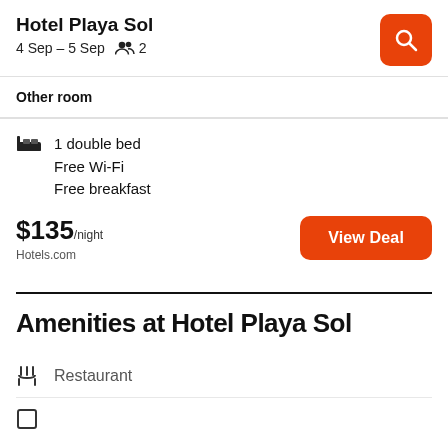Hotel Playa Sol
4 Sep – 5 Sep   👥 2
Other room
1 double bed
Free Wi-Fi
Free breakfast
$135/night
Hotels.com
View Deal
Amenities at Hotel Playa Sol
Restaurant